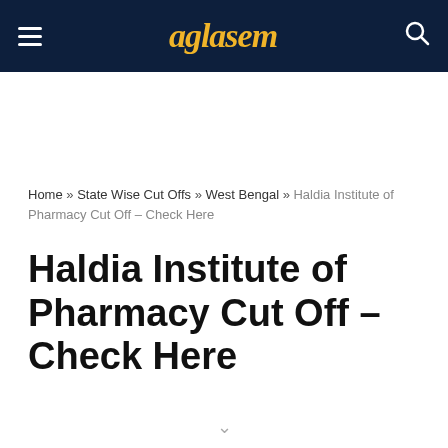aglasem
Home » State Wise Cut Offs » West Bengal » Haldia Institute of Pharmacy Cut Off – Check Here
Haldia Institute of Pharmacy Cut Off – Check Here